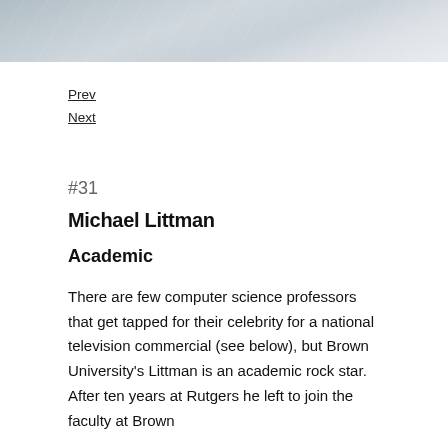[Figure (photo): Partial photograph of a person, cropped at top, showing muted blue-grey and white tones, appears to be a portrait or headshot cut off at the bottom of the image area.]
Prev
Next
#31
Michael Littman
Academic
There are few computer science professors that get tapped for their celebrity for a national television commercial (see below), but Brown University's Littman is an academic rock star.  After ten years at Rutgers he left to join the faculty at Brown